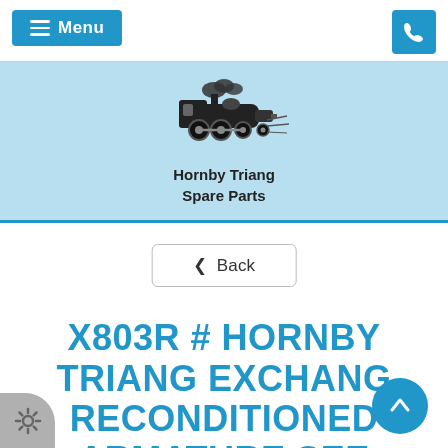Menu | Phone
[Figure (logo): Hornby Triang Spare Parts logo — black line illustration of a steam locomotive with the text 'Hornby Triang Spare Parts' below]
< Back
X803R # HORNBY TRIANG EXCHANG RECONDITIONED ARMATURE SEE DESCRIPTION V24A